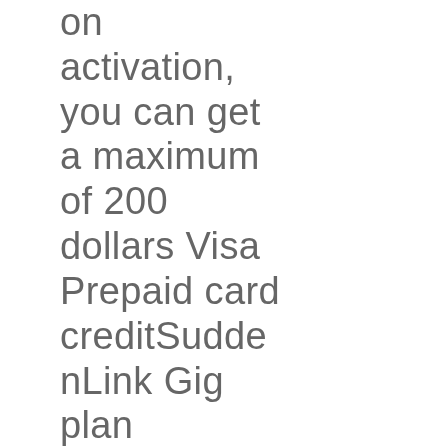on activation, you can get a maximum of 200 dollars Visa Prepaid card creditSuddenLink Gig plan includes free installation with online